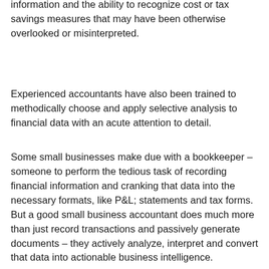information and the ability to recognize cost or tax savings measures that may have been otherwise overlooked or misinterpreted.
Experienced accountants have also been trained to methodically choose and apply selective analysis to financial data with an acute attention to detail.
Some small businesses make due with a bookkeeper – someone to perform the tedious task of recording financial information and cranking that data into the necessary formats, like P&L; statements and tax forms. But a good small business accountant does much more than just record transactions and passively generate documents – they actively analyze, interpret and convert that data into actionable business intelligence.